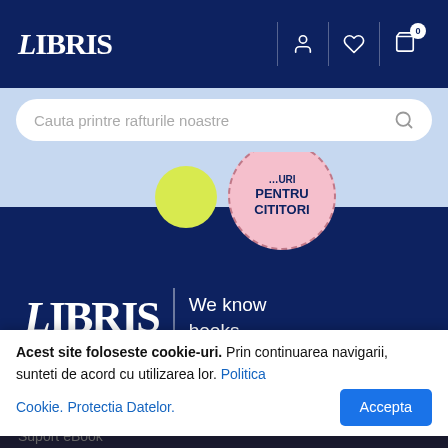LIBRIS
Cauta printre rafturile noastre
[Figure (illustration): Promotional banner with yellow and pink circles. Pink circle reads: PENTRU CITITORI]
[Figure (logo): LIBRIS | We know books logo on dark blue background]
Grupul Libris
Pentru clienti
Suport eBook
Acest site foloseste cookie-uri. Prin continuarea navigarii, sunteti de acord cu utilizarea lor. Politica Cookie. Protectia Datelor.
Accepta